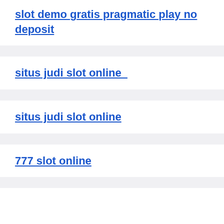slot demo gratis pragmatic play no deposit
situs judi slot online
situs judi slot online
777 slot online